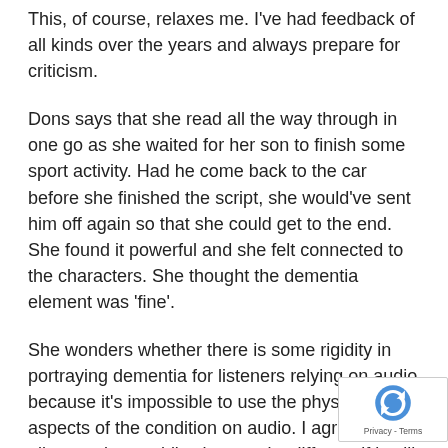This, of course, relaxes me. I've had feedback of all kinds over the years and always prepare for criticism.
Dons says that she read all the way through in one go as she waited for her son to finish some sport activity. Had he come back to the car before she finished the script, she would've sent him off again so that she could get to the end. She found it powerful and she felt connected to the characters. She thought the dementia element was 'fine'.
She wonders whether there is some rigidity in portraying dementia for listeners relying on audio because it's impossible to use the physical aspects of the condition on audio. I agree – after all my script would've been quite different if it still had been for theatre. I'd planned on a metaphor of bookshelves in the next theatre dra… which I had to let go of because I was doing this audi…